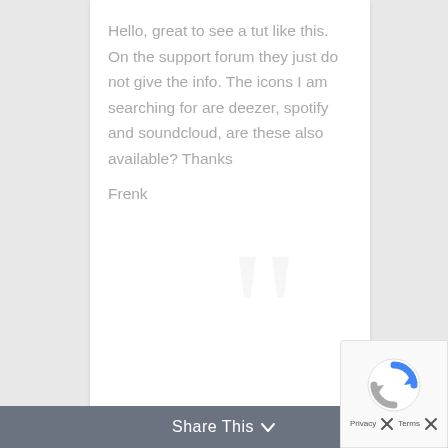Hello, great to see a tut like this. On the support forum they just do not give the info. The icons I am searching for are deezer, spotify and soundcloud, are these also available? Thanks
Frenk
Share This ∨
Reply